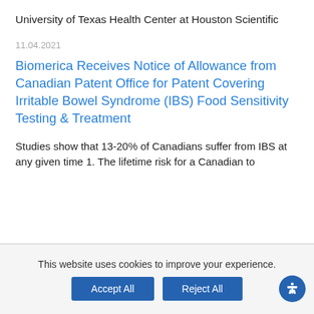University of Texas Health Center at Houston Scientific
11.04.2021
Biomerica Receives Notice of Allowance from Canadian Patent Office for Patent Covering Irritable Bowel Syndrome (IBS) Food Sensitivity Testing & Treatment
Studies show that 13-20% of Canadians suffer from IBS at any given time 1. The lifetime risk for a Canadian to
This website uses cookies to improve your experience.